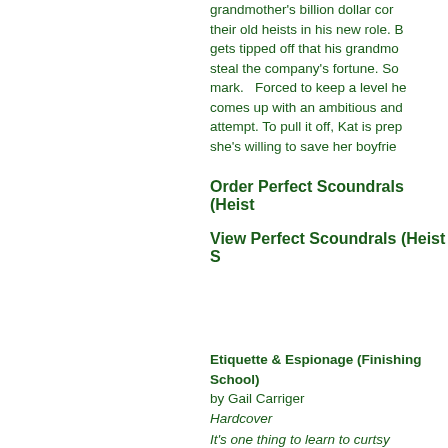grandmother's billion dollar cor their old heists in his new role. B gets tipped off that his grandmo steal the company's fortune. So mark.   Forced to keep a level he comes up with an ambitious and attempt. To pull it off, Kat is prep she's willing to save her boyfrie
Order Perfect Scoundrals (Heist
View Perfect Scoundrals (Heist S
Etiquette & Espionage (Finishing School) by Gail Carriger Hardcover
It's one thing to learn to curtsy properly. It's quite another to lea curtsy and throw a knife at the s time. Welcome to Finishing Scho